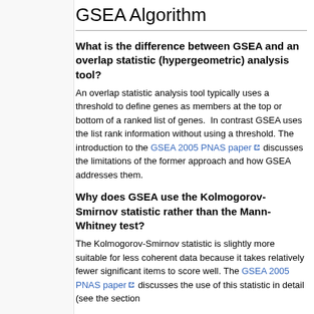GSEA Algorithm
What is the difference between GSEA and an overlap statistic (hypergeometric) analysis tool?
An overlap statistic analysis tool typically uses a threshold to define genes as members at the top or bottom of a ranked list of genes.  In contrast GSEA uses the list rank information without using a threshold. The introduction to the GSEA 2005 PNAS paper discusses the limitations of the former approach and how GSEA addresses them.
Why does GSEA use the Kolmogorov-Smirnov statistic rather than the Mann-Whitney test?
The Kolmogorov-Smirnov statistic is slightly more suitable for less coherent data because it takes relatively fewer significant items to score well. The GSEA 2005 PNAS paper discusses the use of this statistic in detail (see the section